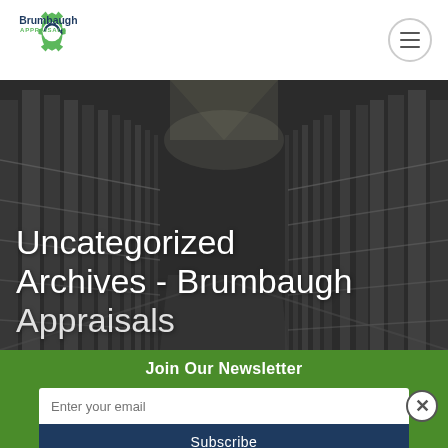[Figure (logo): Brumbaugh Appraisals logo with gear and circular arrow icon]
[Figure (photo): Warehouse interior with tall shelving racks, dark/dramatic overhead lighting, black and white toned photo]
Uncategorized Archives - Brumbaugh Appraisals
Join Our Newsletter